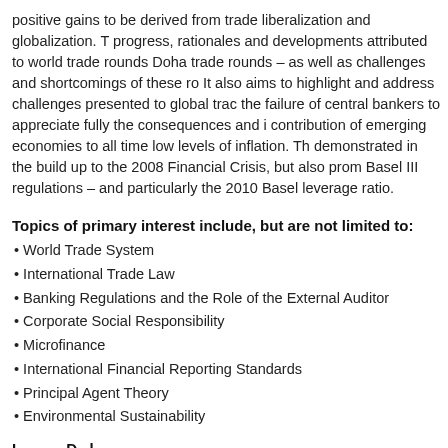positive gains to be derived from trade liberalization and globalization. T progress, rationales and developments attributed to world trade rounds Doha trade rounds – as well as challenges and shortcomings of these ro It also aims to highlight and address challenges presented to global trac the failure of central bankers to appreciate fully the consequences and i contribution of emerging economies to all time low levels of inflation. Th demonstrated in the build up to the 2008 Financial Crisis, but also prom Basel III regulations – and particularly the 2010 Basel leverage ratio.
Topics of primary interest include, but are not limited to:
World Trade System
International Trade Law
Banking Regulations and the Role of the External Auditor
Corporate Social Responsibility
Microfinance
International Financial Reporting Standards
Principal Agent Theory
Environmental Sustainability
I _____ D _l _____